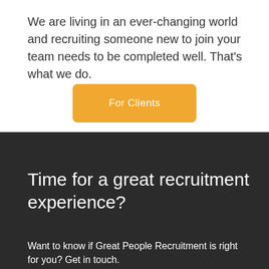We are living in an ever-changing world and recruiting someone new to join your team needs to be completed well. That's what we do.
[Figure (other): Orange button labeled 'For Clients']
Time for a great recruitment experience?
Want to know if Great People Recruitment is right for you? Get in touch.